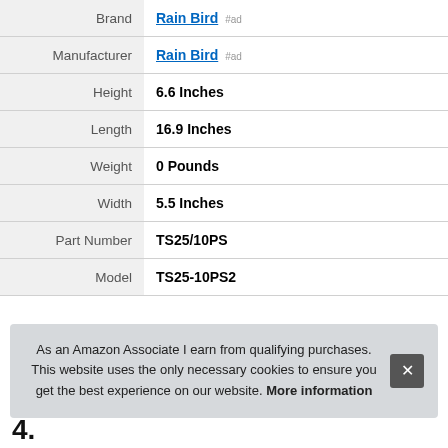| Attribute | Value |
| --- | --- |
| Brand | Rain Bird #ad |
| Manufacturer | Rain Bird #ad |
| Height | 6.6 Inches |
| Length | 16.9 Inches |
| Weight | 0 Pounds |
| Width | 5.5 Inches |
| Part Number | TS25/10PS |
| Model | TS25-10PS2 |
More information #ad
As an Amazon Associate I earn from qualifying purchases. This website uses the only necessary cookies to ensure you get the best experience on our website. More information
4.